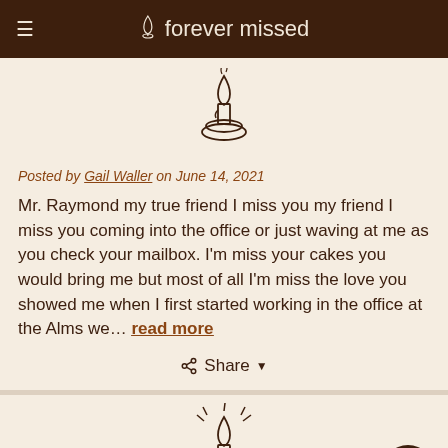forever missed
[Figure (illustration): Line drawing of a lit candle on a holder, partially visible at top]
Posted by Gail Waller on June 14, 2021
Mr. Raymond my true friend I miss you my friend I miss you coming into the office or just waving at me as you check your mailbox. I'm miss your cakes you would bring me but most of all I'm miss the love you showed me when I first started working in the office at the Alms we… read more
Share
[Figure (illustration): Line drawing of a lit candle on a holder with motion lines indicating flame flickering]